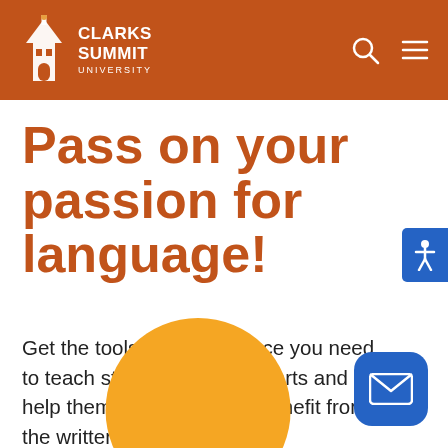Clarks Summit University
Pass on your passion for language!
Get the tools and experience you need to teach students language arts and help them appreciate and benefit from the written word.
[Figure (illustration): Orange semicircle/circle shape at the bottom center of the page]
[Figure (illustration): Blue rounded square email button at bottom right]
[Figure (illustration): Blue accessibility icon button on right edge]